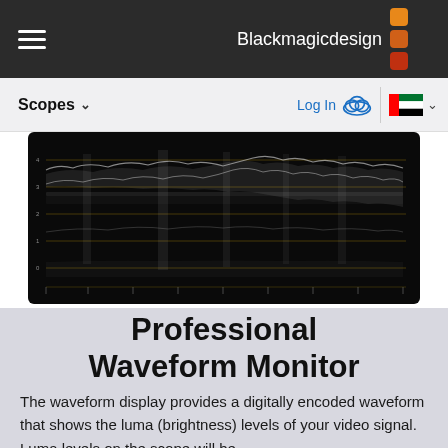Blackmagicdesign
Scopes ∨   Log In   🇦🇪 ∨
[Figure (continuous-plot): Professional waveform monitor display showing luma (brightness) waveform on a black background with horizontal yellow/golden gridlines and white waveform traces. The waveform shows video signal brightness levels across the frame, with dense white traces concentrated in upper portions and vertical streaks indicating bright areas.]
Professional Waveform Monitor
The waveform display provides a digitally encoded waveform that shows the luma (brightness) levels of your video signal. Luma levels on the scope will be